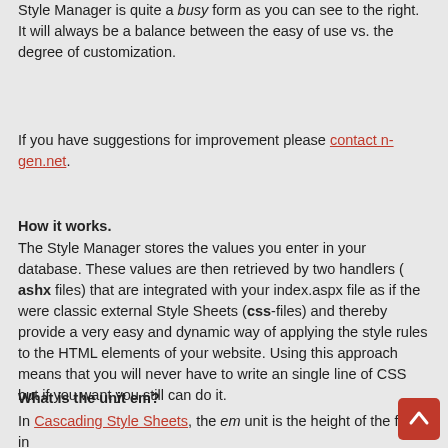Style Manager is quite a busy form as you can see to the right. It will always be a balance between the easy of use vs. the degree of customization.
If you have suggestions for improvement please contact n-gen.net.
How it works.
The Style Manager stores the values you enter in your database. These values are then retrieved by two handlers ( ashx files) that are integrated with your index.aspx file as if the were classic external Style Sheets (css-files) and thereby provide a very easy and dynamic way of applying the style rules to the HTML elements of your website. Using this approach means that you will never have to write an single line of CSS but if you want you still can do it.
What is the unit em?
In Cascading Style Sheets, the em unit is the height of the font in